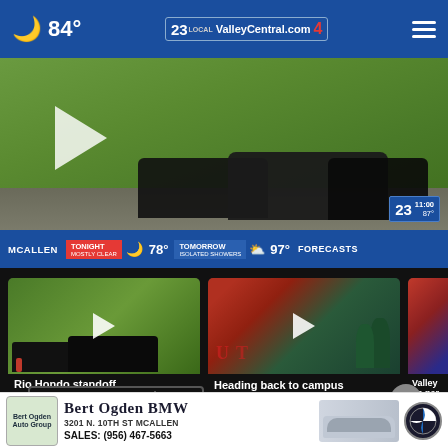🌙 84° — ValleyCentral.com — Local 23 / 4
[Figure (screenshot): Main news video thumbnail showing cars on a road with greenery, play button visible, weather strip overlay showing McAllen: Tonight Mostly Clear 78°, Tomorrow Isolated Showers 97°, Forecasts]
[Figure (screenshot): Video card: Rio Hondo standoff — dark SUV scene, 10 hours ago]
[Figure (screenshot): Video card: Heading back to campus — UTRGV sign, 11 hours ago]
[Figure (screenshot): Partial video card: Valley de par... (partially visible)]
More Videos ›
[Figure (photo): Bert Ogden BMW advertisement — 3201 N. 10th St McAllen — Sales: (956) 467-5663 — BMW car image and logo]